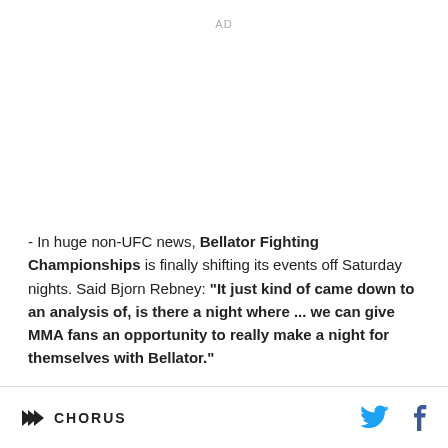AD
- In huge non-UFC news, Bellator Fighting Championships is finally shifting its events off Saturday nights. Said Bjorn Rebney: "It just kind of came down to an analysis of, is there a night where ... we can give MMA fans an opportunity to really make a night for themselves with Bellator."
CHORUS